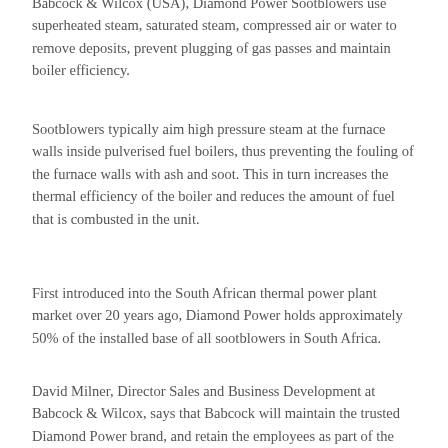Babcock & Wilcox (USA), Diamond Power Sootblowers use superheated steam, saturated steam, compressed air or water to remove deposits, prevent plugging of gas passes and maintain boiler efficiency.
Sootblowers typically aim high pressure steam at the furnace walls inside pulverised fuel boilers, thus preventing the fouling of the furnace walls with ash and soot. This in turn increases the thermal efficiency of the boiler and reduces the amount of fuel that is combusted in the unit.
First introduced into the South African thermal power plant market over 20 years ago, Diamond Power holds approximately 50% of the installed base of all sootblowers in South Africa.
David Milner, Director Sales and Business Development at Babcock & Wilcox, says that Babcock will maintain the trusted Diamond Power brand, and retain the employees as part of the acquisition to ensure a seamless transition.
As a key service provider in the thermal power plant sector with a well-established market footprint, Babcock is in a strong position to